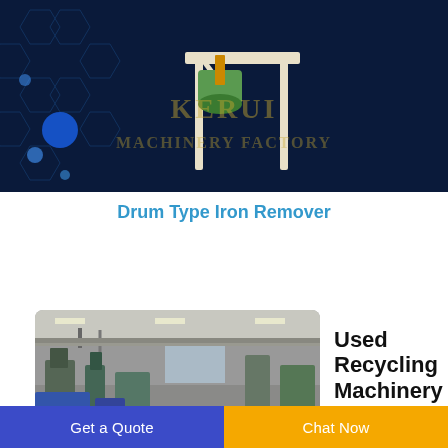[Figure (photo): Product photo of a Drum Type Iron Remover machine on a dark navy blue background with hexagonal pattern and glowing blue lights, with 'KERUI MACHINERY FACTORY' watermark text]
Drum Type Iron Remover
[Figure (photo): Interior photo of a factory/industrial building showing machinery, equipment, and a large open warehouse space]
Used Recycling Machinery